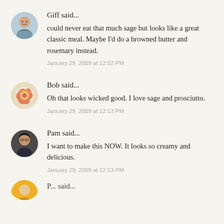[Figure (photo): Round avatar photo of Giff, a man]
Giff said...
could never eat that much sage but looks like a great classic meal. Maybe I'd do a browned butter and rosemary instead.
January 29, 2009 at 12:02 PM
[Figure (photo): Round avatar image of Bob, colorful food icon]
Bob said...
Oh that looks wicked good. I love sage and prosciutto.
January 29, 2009 at 12:13 PM
[Figure (photo): Round avatar photo of Pam, a woman]
Pam said...
I want to make this NOW. It looks so creamy and delicious.
January 29, 2009 at 12:13 PM
[Figure (photo): Round avatar partially visible at bottom, orange/yellow color]